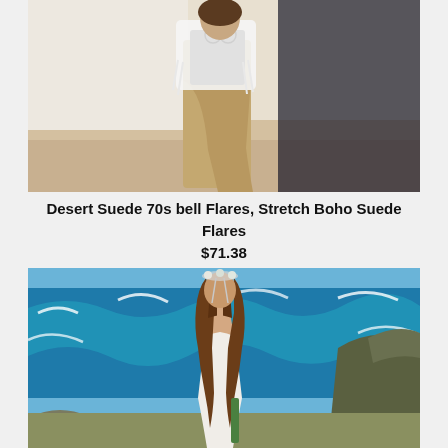[Figure (photo): Fashion photo of a person on a beach wearing tan/camel wide-leg pants and a white fringed boho jacket, standing against a sandy beach background]
Desert Suede 70s bell Flares, Stretch Boho Suede Flares
$71.38
[Figure (photo): Fashion photo of a woman with long brown wavy hair and a flower crown headpiece, wearing a white backless lace dress, standing on rocky coastline looking out at turquoise ocean waves]